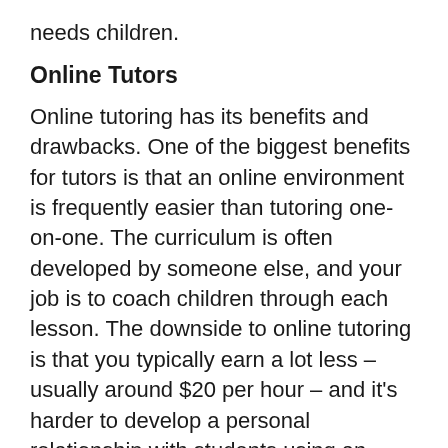needs children.
Online Tutors
Online tutoring has its benefits and drawbacks. One of the biggest benefits for tutors is that an online environment is frequently easier than tutoring one-on-one. The curriculum is often developed by someone else, and your job is to coach children through each lesson. The downside to online tutoring is that you typically earn a lot less – usually around $20 per hour – and it's harder to develop a personal relationship with students using an online platform.
That said, starting out as an online tutor can be a great way to hone your tutoring skills and build